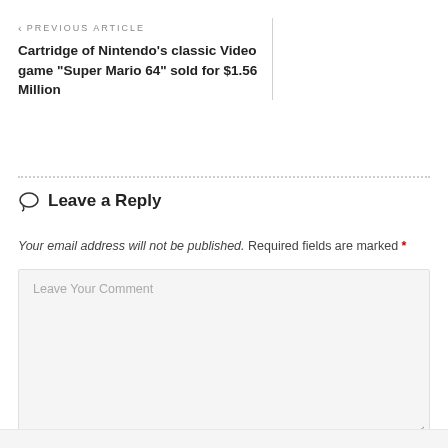< PREVIOUS ARTICLE
Cartridge of Nintendo's classic Video game "Super Mario 64" sold for $1.56 Million
Leave a Reply
Your email address will not be published. Required fields are marked *
Leave Your Comment